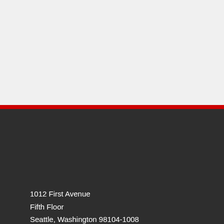[Figure (logo): FSN (Food Safety News) logo with red letters on dark background, website URL and tagline]
1012 First Avenue
Fifth Floor
Seattle, Washington 98104-1008
[Figure (infographic): Social media icons: RSS (orange), Facebook (blue), Twitter (cyan), Email (dark), LinkedIn (blue)]
Consumer Education